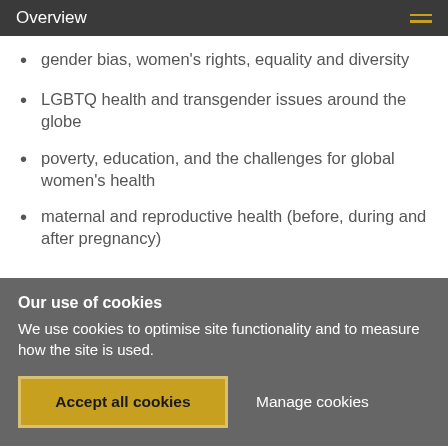Overview
gender bias, women's rights, equality and diversity
LGBTQ health and transgender issues around the globe
poverty, education, and the challenges for global women's health
maternal and reproductive health (before, during and after pregnancy)
Our use of cookies
We use cookies to optimise site functionality and to measure how the site is used.
Accept all cookies
Manage cookies